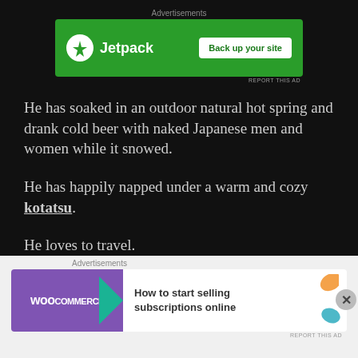[Figure (screenshot): Jetpack advertisement banner — green background with Jetpack logo and 'Back up your site' button]
He has soaked in an outdoor natural hot spring and drank cold beer with naked Japanese men and women while it snowed.
He has happily napped under a warm and cozy kotatsu.
He loves to travel.
He has sailed to many ports of call throughout the
[Figure (screenshot): WooCommerce advertisement banner — purple background with WooCommerce logo and 'How to start selling subscriptions online' text]